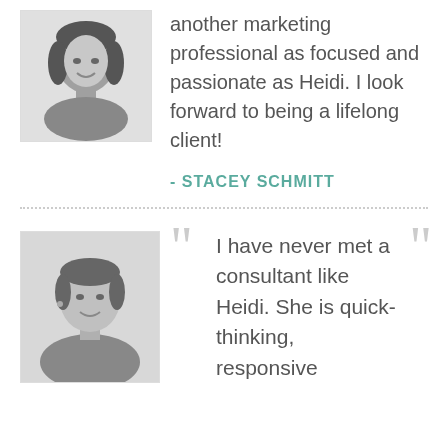[Figure (photo): Black and white headshot of a woman with shoulder-length hair, smiling]
another marketing professional as focused and passionate as Heidi. I look forward to being a lifelong client!
- STACEY SCHMITT
[Figure (photo): Black and white headshot of a woman with short hair, smiling, wearing earrings]
I have never met a consultant like Heidi. She is quick-thinking, responsive